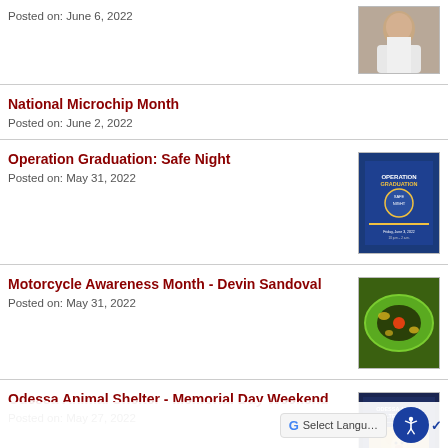Posted on: June 6, 2022
[Figure (photo): Photo of a man in a white tank top]
National Microchip Month
Posted on: June 2, 2022
Operation Graduation: Safe Night
Posted on: May 31, 2022
[Figure (photo): Blue poster for Operation Graduation]
Motorcycle Awareness Month - Devin Sandoval
Posted on: May 31, 2022
[Figure (photo): Photo of a green and orange decorative bowl]
Odessa Animal Shelter - Memorial Day Weekend
Posted on: May 27, 2022
[Figure (photo): Animal shelter closed notice with dog image]
OPD investigating suspicious death